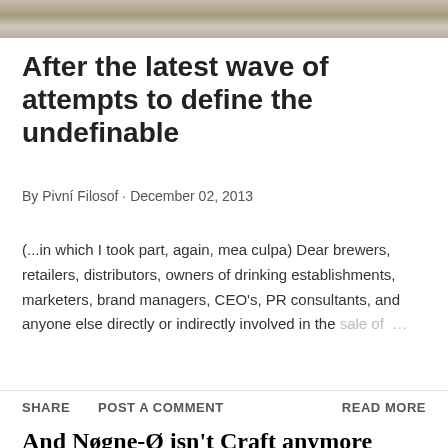[Figure (photo): Partial photo strip at top of page showing blurry decorative objects]
After the latest wave of attempts to define the undefinable
By Pivní Filosof · December 02, 2013
(...in which I took part, again, mea culpa) Dear brewers, retailers, distributors, owners of drinking establishments, marketers, brand managers, CEO's, PR consultants, and anyone else directly or indirectly involved in the sale of ...
SHARE   POST A COMMENT   READ MORE
And Nøgne-Ø isn't Craft anymore